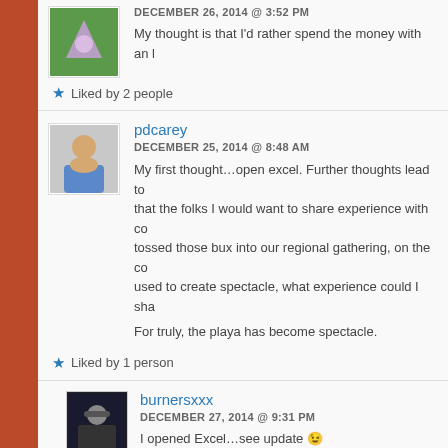DECEMBER 26, 2014 @ 3:52 PM
My thought is that I'd rather spend the money with an l
Liked by 2 people
pdcarey
DECEMBER 25, 2014 @ 8:48 AM
My first thought…open excel. Further thoughts lead to that the folks I would want to share experience with co tossed those bux into our regional gathering, on the co used to create spectacle, what experience could I sha
For truly, the playa has become spectacle.
Liked by 1 person
burnersxxx
DECEMBER 27, 2014 @ 9:31 PM
I opened Excel…see update 😉